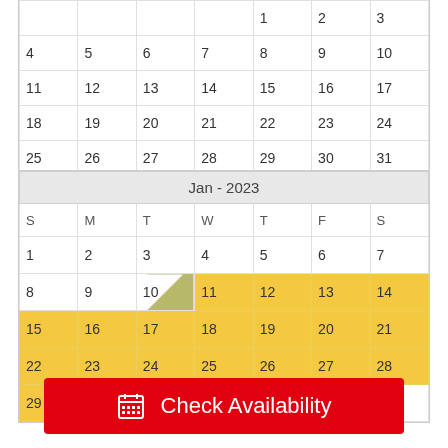|  |  |  |  |  | 1 | 2 | 3 |
| 4 | 5 | 6 | 7 | 8 | 9 | 10 |
| 11 | 12 | 13 | 14 | 15 | 16 | 17 |
| 18 | 19 | 20 | 21 | 22 | 23 | 24 |
| 25 | 26 | 27 | 28 | 29 | 30 | 31 |
| S | M | T | W | T | F | S |
| --- | --- | --- | --- | --- | --- | --- |
| 1 | 2 | 3 | 4 | 5 | 6 | 7 |
| 8 | 9 | 10 | 11 | 12 | 13 | 14 |
| 15 | 16 | 17 | 18 | 19 | 20 | 21 |
| 22 | 23 | 24 | 25 | 26 | 27 | 28 |
| 29 | 30 | 31 |  |  |  |  |
Check Availability